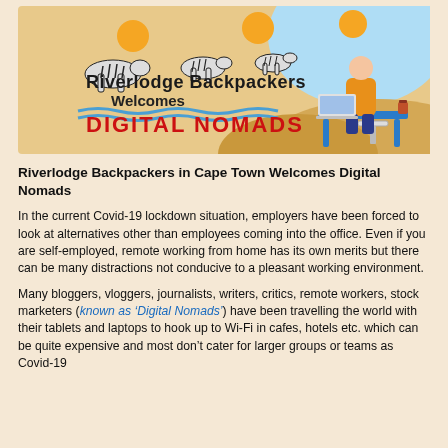[Figure (illustration): Riverlodge Backpackers promotional banner showing zebras running under orange suns, a person working on a laptop at a blue desk against a desert/dune background. Text reads 'Riverlodge Backpackers Welcomes DIGITAL NOMADS']
Riverlodge Backpackers in Cape Town Welcomes Digital Nomads
In the current Covid-19 lockdown situation, employers have been forced to look at alternatives other than employees coming into the office. Even if you are self-employed, remote working from home has its own merits but there can be many distractions not conducive to a pleasant working environment.
Many bloggers, vloggers, journalists, writers, critics, remote workers, stock marketers (known as ‘Digital Nomads’) have been travelling the world with their tablets and laptops to hook up to Wi-Fi in cafes, hotels etc. which can be quite expensive and most don’t cater for larger groups or teams as Covid-19 and distancing has seen similar digital nomad trends.